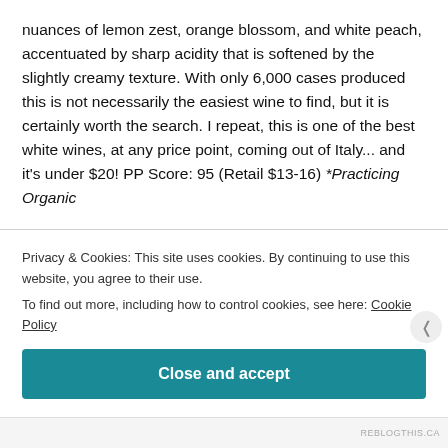nuances of lemon zest, orange blossom, and white peach, accentuated by sharp acidity that is softened by the slightly creamy texture. With only 6,000 cases produced this is not necessarily the easiest wine to find, but it is certainly worth the search. I repeat, this is one of the best white wines, at any price point, coming out of Italy... and it's under $20! PP Score: 95 (Retail $13-16) *Practicing Organic
So there you have it, the recipe for my favorite salad of
Privacy & Cookies: This site uses cookies. By continuing to use this website, you agree to their use.
To find out more, including how to control cookies, see here: Cookie Policy
Close and accept